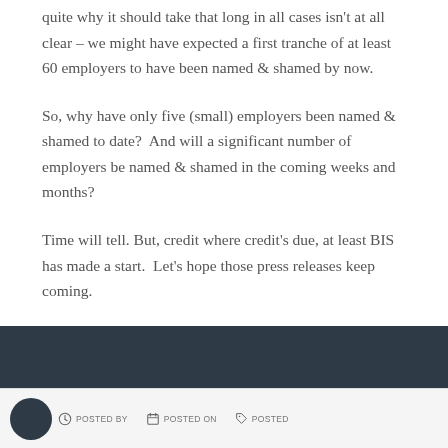quite why it should take that long in all cases isn't at all clear – we might have expected a first tranche of at least 60 employers to have been named & shamed by now.
So, why have only five (small) employers been named & shamed to date?  And will a significant number of employers be named & shamed in the coming weeks and months?
Time will tell. But, credit where credit's due, at least BIS has made a start.  Let's hope those press releases keep coming.
POSTED BY   POSTED ON   POSTED